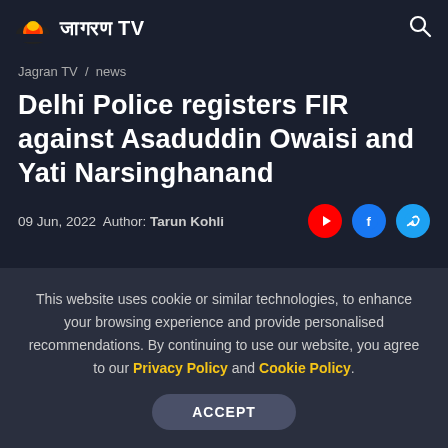जागरण TV
Jagran TV / news
Delhi Police registers FIR against Asaduddin Owaisi and Yati Narsinghanand
09 Jun, 2022 Author: Tarun Kohli
This website uses cookie or similar technologies, to enhance your browsing experience and provide personalised recommendations. By continuing to use our website, you agree to our Privacy Policy and Cookie Policy.